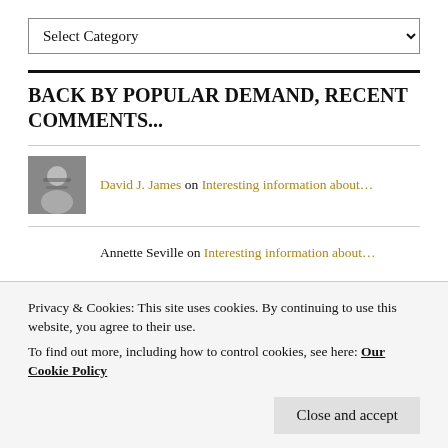Select Category (dropdown)
BACK BY POPULAR DEMAND, RECENT COMMENTS...
David J. James on Interesting information about...
Annette Seville on Interesting information about...
David J. James on Vladimir Kheilo et Ware... (partial)
Privacy & Cookies: This site uses cookies. By continuing to use this website, you agree to their use. To find out more, including how to control cookies, see here: Our Cookie Policy
Close and accept